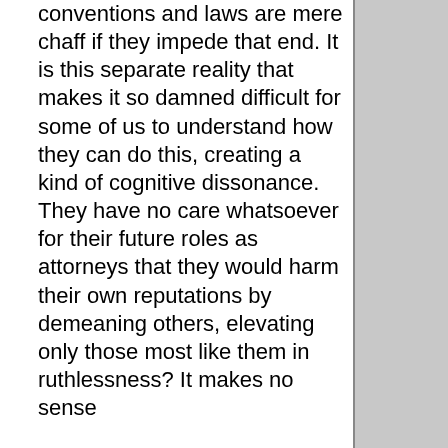conventions and laws are mere chaff if they impede that end. It is this separate reality that makes it so damned difficult for some of us to understand how they can do this, creating a kind of cognitive dissonance. They have no care whatsoever for their future roles as attorneys that they would harm their own reputations by demeaning others, elevating only those most like them in ruthlessness? It makes no sense